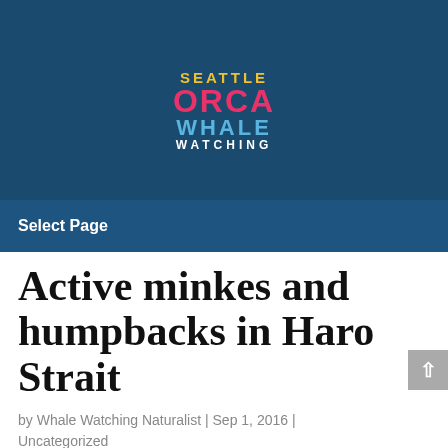[Figure (logo): Seattle Orca Whale Watching logo with colored text on dark blue background]
Select Page
Active minkes and humpbacks in Haro Strait
by Whale Watching Naturalist | Sep 1, 2016 | Uncategorized
[Figure (photo): Photograph of a whale tail (fluke) above water surface]